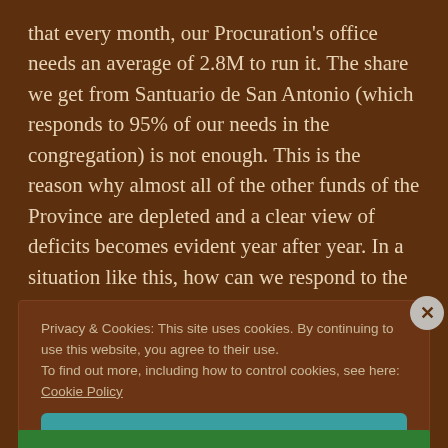that every month, our Procuration's office needs an average of 2.8M to run it. The share we get from Santuario de San Antonio (which responds to 95% of our needs in the congregation) is not enough. This is the reason why almost all of the other funds of the Province are depleted and a clear view of deficits becomes evident year after year. In a situation like this, how can we respond to the many demands in the missions?
Privacy & Cookies: This site uses cookies. By continuing to use this website, you agree to their use.
To find out more, including how to control cookies, see here: Cookie Policy
Close and accept